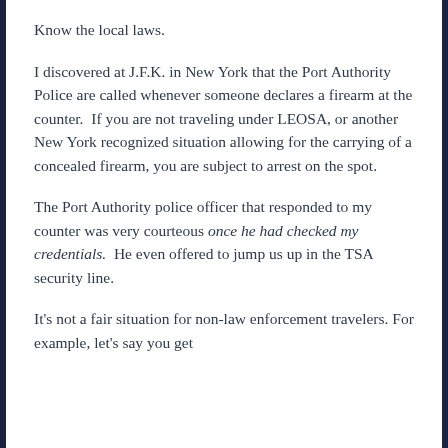Know the local laws.
I discovered at J.F.K. in New York that the Port Authority Police are called whenever someone declares a firearm at the counter.  If you are not traveling under LEOSA, or another New York recognized situation allowing for the carrying of a concealed firearm, you are subject to arrest on the spot.
The Port Authority police officer that responded to my counter was very courteous once he had checked my credentials.  He even offered to jump us up in the TSA security line.
It's not a fair situation for non-law enforcement travelers. For example, let's say you get